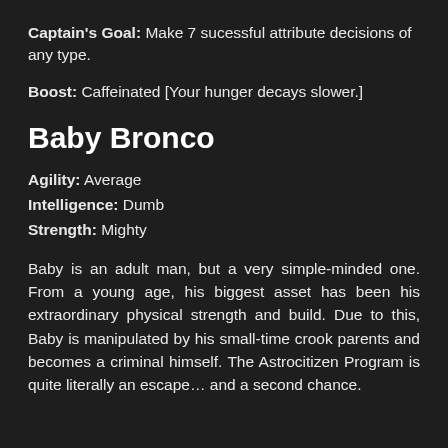Captain's Goal: Make 7 sucessful attribute decisions of any type.
Boost: Caffeinated [Your hunger decays slower.]
Baby Bronco
Agility: Average
Intelligence: Dumb
Strength: Mighty
Baby is an adult man, but a very simple-minded one. From a young age, his biggest asset has been his extraordinary physical strength and build. Due to this, Baby is manipulated by his small-time crook parents and becomes a criminal himself. The Astrocitizen Program is quite literally an escape... and a second chance.